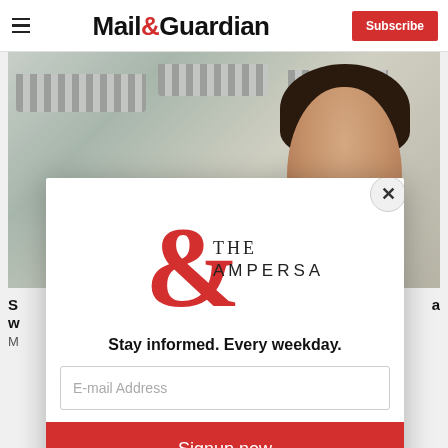Mail&Guardian — Subscribe
[Figure (photo): Photo of a woman smiling in front of a building with striped awnings]
S... a
w...
M...
[Figure (infographic): The Ampersand newsletter modal popup with logo, tagline 'Stay informed. Every weekday.', email input field, and Signup now button]